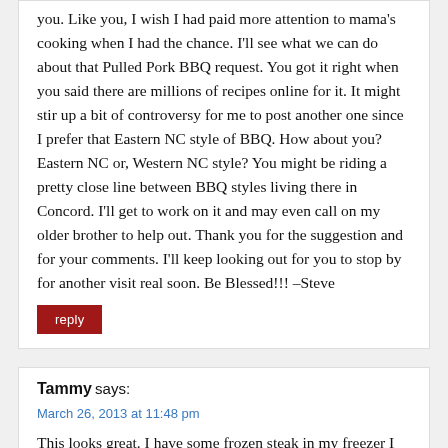you. Like you, I wish I had paid more attention to mama's cooking when I had the chance. I'll see what we can do about that Pulled Pork BBQ request. You got it right when you said there are millions of recipes online for it. It might stir up a bit of controversy for me to post another one since I prefer that Eastern NC style of BBQ. How about you? Eastern NC or, Western NC style? You might be riding a pretty close line between BBQ styles living there in Concord. I'll get to work on it and may even call on my older brother to help out. Thank you for the suggestion and for your comments. I'll keep looking out for you to stop by for another visit real soon. Be Blessed!!! –Steve
reply
Tammy says:
March 26, 2013 at 11:48 pm
This looks great. I have some frozen steak in my freezer I bought cheap that I hadn't decided how to use. Would've never thought to make this. In fact, I've never had beef tips. I'm 7 months pregnant and love to check your website for dinner ideas.
reply